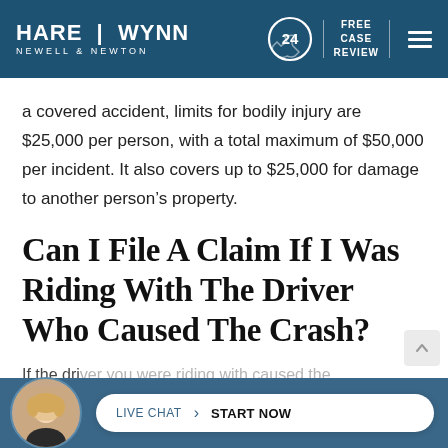HARE | WYNN NEWELL & NEWTON — FREE CASE REVIEW
a covered accident, limits for bodily injury are $25,000 per person, with a total maximum of $50,000 per incident. It also covers up to $25,000 for damage to another person’s property.
Can I File A Claim If I Was Riding With The Driver Who Caused The Crash?
If the driver you were riding with caused the
LIVE CHAT › START NOW